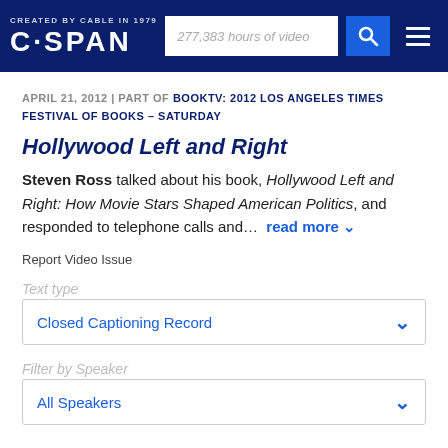CREATED BY CABLE IN 1979 | C·SPAN | 277,383 hours of video
APRIL 21, 2012 | PART OF BOOKTV: 2012 LOS ANGELES TIMES FESTIVAL OF BOOKS – SATURDAY
Hollywood Left and Right
Steven Ross talked about his book, Hollywood Left and Right: How Movie Stars Shaped American Politics, and responded to telephone calls and… read more
Report Video Issue
Text type
Closed Captioning Record
Filter by Speaker
All Speakers